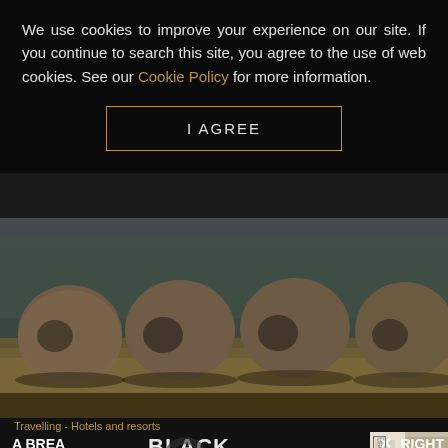We use cookies to improve your experience on our site. If you continue to search this site, you agree to the use of web cookies. See our Cookie Policy for more information.
I AGREE
[Figure (photo): Aerial view of four large egg-shaped pod structures sitting in a field with trees in the background, misty atmosphere]
Travelling - Hotels and resorts
A BREA NOW
BLACK
[Figure (photo): Modern interior design photo showing a dining or billiard table with benches in a contemporary room]
fusiontables X RIGHT
We are a dreamin hile ad